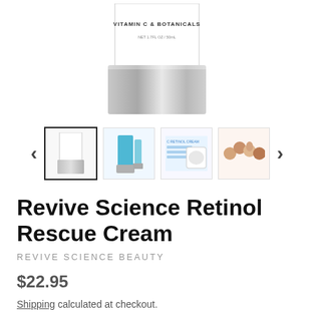[Figure (photo): Product photo of Revive Science Retinol Rescue Cream jar with silver cap, showing top label reading VITAMIN C & BOTANICALS, NET 1.7FL OZ / 50mL]
[Figure (photo): Thumbnail carousel with four product images and left/right navigation arrows. First thumbnail is selected (bordered). Others show product from different angles and usage diagrams.]
Revive Science Retinol Rescue Cream
REVIVE SCIENCE BEAUTY
$22.95
Shipping calculated at checkout.